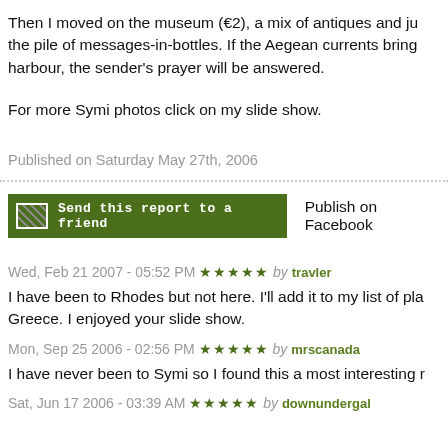Then I moved on the museum (€2), a mix of antiques and ju... the pile of messages-in-bottles. If the Aegean currents bring... harbour, the sender's prayer will be answered.
For more Symi photos click on my slide show.
Published on Saturday May 27th, 2006
Send this report to a friend
Publish on Facebook
Wed, Feb 21 2007 - 05:52 PM ★★★★★ by travler
I have been to Rhodes but not here. I'll add it to my list of pla... Greece. I enjoyed your slide show.
Mon, Sep 25 2006 - 02:56 PM ★★★★★ by mrscanada
I have never been to Symi so I found this a most interesting r...
Sat, Jun 17 2006 - 03:39 AM ★★★★★ by downundergal